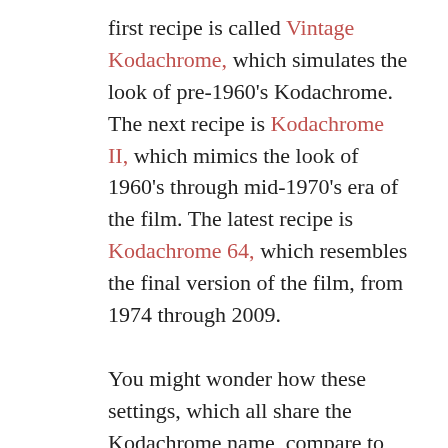first recipe is called Vintage Kodachrome, which simulates the look of pre-1960's Kodachrome. The next recipe is Kodachrome II, which mimics the look of 1960's through mid-1970's era of the film. The latest recipe is Kodachrome 64, which resembles the final version of the film, from 1974 through 2009.
You might wonder how these settings, which all share the Kodachrome name, compare to each other. Well, I made multiple versions of the same images to see. I wanted to place them against each other to observe their differences. It's interesting to see how they render the same scene differently. Vintage Kodachrome is the most dissimilar.